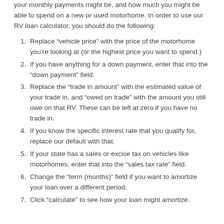your monthly payments might be, and how much you might be able to spend on a new or used motorhome. In order to use our RV loan calculator, you should do the following:
Replace “vehicle price” with the price of the motorhome you’re looking at (or the highest price you want to spend.)
If you have anything for a down payment, enter that into the “down payment” field.
Replace the “trade in amount” with the estimated value of your trade in, and “owed on trade” with the amount you still owe on that RV. These can be left at zero if you have no trade in.
If you know the specific interest rate that you qualify for, replace our default with that.
If your state has a sales or excise tax on vehicles like motorhomes, enter that into the “sales tax rate” field.
Change the “term (months)” field if you want to amortize your loan over a different period.
Click “calculate” to see how your loan might amortize.